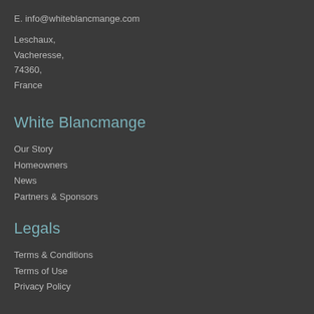E. info@whiteblancmange.com
Leschaux,
Vacheresse,
74360,
France
White Blancmange
Our Story
Homeowners
News
Partners & Sponsors
Legals
Terms & Conditions
Terms of Use
Privacy Policy